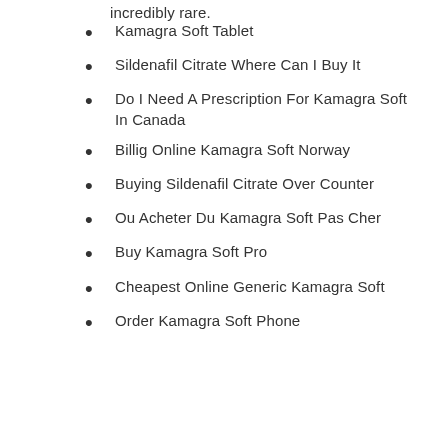incredibly rare.
Kamagra Soft Tablet
Sildenafil Citrate Where Can I Buy It
Do I Need A Prescription For Kamagra Soft In Canada
Billig Online Kamagra Soft Norway
Buying Sildenafil Citrate Over Counter
Ou Acheter Du Kamagra Soft Pas Cher
Buy Kamagra Soft Pro
Cheapest Online Generic Kamagra Soft
Order Kamagra Soft Phone